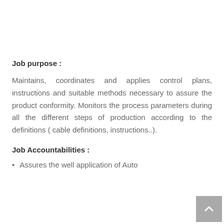Job purpose :
Maintains, coordinates and applies control plans, instructions and suitable methods necessary to assure the product conformity. Monitors the process parameters during all the different steps of production according to the definitions ( cable definitions, instructions..).
Job Accountabilities :
Assures the well application of Auto